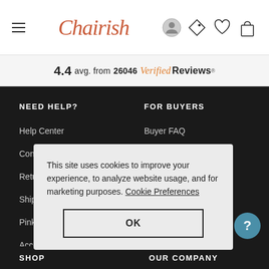Chairish
4.4 avg. from 26046 Verified Reviews
NEED HELP?
Help Center
Contact Us
Return Policy
Ship...
Pink...
Acce...
FOR BUYERS
Buyer FAQ
Buy Now, Pay Later
Trade Program
This site uses cookies to improve your experience, to analyze website usage, and for marketing purposes. Cookie Preferences
OK
SHOP
OUR COMPANY